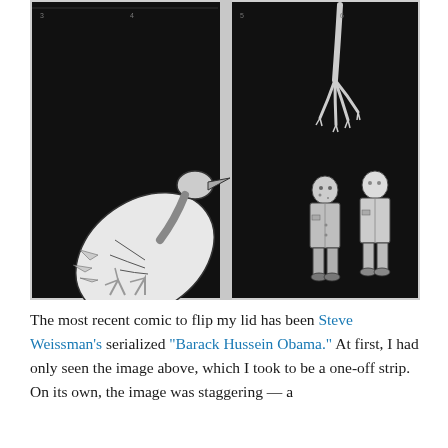[Figure (illustration): Two-panel black and white comic strip. Left panel: a large bird-like creature with an oversized round body is swooping down toward a small humanoid figure standing upright in a suit. Right panel: a skeletal hand reaches down from above toward the same small humanoid figure standing alone against a black background.]
The most recent comic to flip my lid has been Steve Weissman's serialized "Barack Hussein Obama." At first, I had only seen the image above, which I took to be a one-off strip. On its own, the image was staggering — a